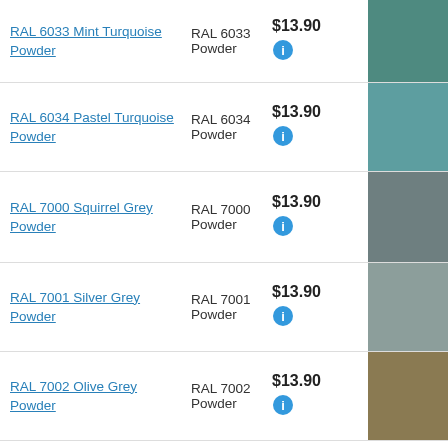RAL 6033 Mint Turquoise Powder | RAL 6033 Powder | $13.90
RAL 6034 Pastel Turquoise Powder | RAL 6034 Powder | $13.90
RAL 7000 Squirrel Grey Powder | RAL 7000 Powder | $13.90
RAL 7001 Silver Grey Powder | RAL 7001 Powder | $13.90
RAL 7002 Olive Grey Powder | RAL 7002 Powder | $13.90